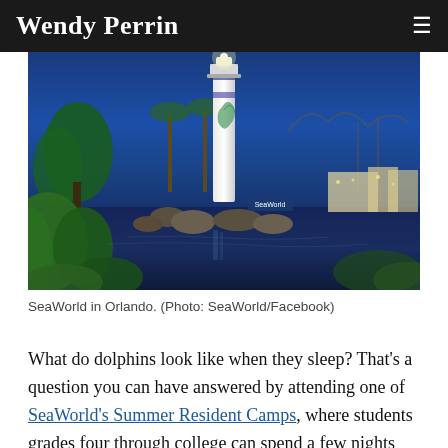Wendy Perrin
[Figure (photo): SeaWorld in Orlando at dusk/night, featuring a tall lighthouse with a dolphin mural, water with reflections, rocks, tropical plants, and roller coasters in the background]
SeaWorld in Orlando. (Photo: SeaWorld/Facebook)
What do dolphins look like when they sleep? That’s a question you can have answered by attending one of SeaWorld’s Summer Resident Camps, where students grades four through college can spend a few nights sleeping next to beluga whales, manatees, and dolphins. When the sun comes up, participants